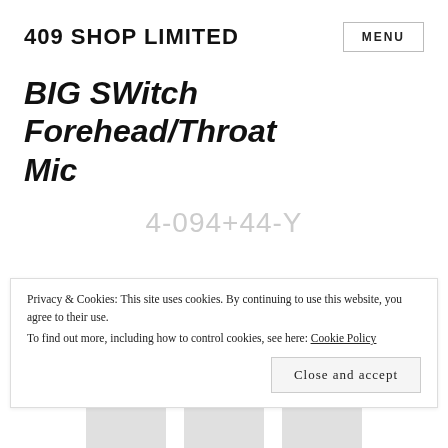409 SHOP LIMITED
BIG SWitch Forehead/Throat Mic
4-094+44-Y
Privacy & Cookies: This site uses cookies. By continuing to use this website, you agree to their use.
To find out more, including how to control cookies, see here: Cookie Policy
Close and accept
[Figure (photo): Product images strip at the bottom of the page showing partial views of microphone products]